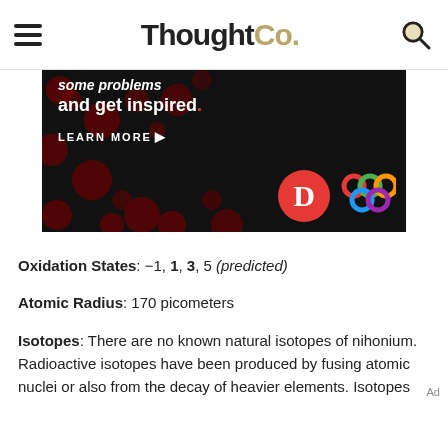ThoughtCo.
[Figure (photo): Advertisement banner with dark background, polka dot pattern, text reading 'and get inspired.' with 'LEARN MORE' button, and logos for Dictionary.com and a colorful knot/olympics-style graphic.]
Oxidation States: −1, 1, 3, 5 (predicted)
Atomic Radius: 170 picometers
Isotopes: There are no known natural isotopes of nihonium. Radioactive isotopes have been produced by fusing atomic nuclei or also from the decay of heavier elements. Isotopes